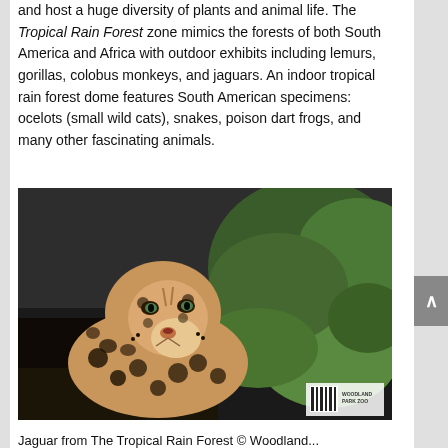and host a huge diversity of plants and animal life. The Tropical Rain Forest zone mimics the forests of both South America and Africa with outdoor exhibits including lemurs, gorillas, colobus monkeys, and jaguars. An indoor tropical rain forest dome features South American specimens: ocelots (small wild cats), snakes, poison dart frogs, and many other fascinating animals.
[Figure (photo): A jaguar with spotted coat looking forward, surrounded by lush green foliage. Woodland Park Zoo logo visible in lower right corner.]
Jaguar from The Tropical Rain Forest © Woodland...